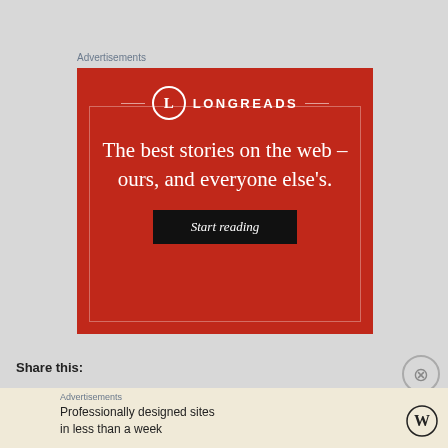Advertisements
[Figure (illustration): Longreads advertisement on red background with text 'The best stories on the web – ours, and everyone else's.' and a 'Start reading' button.]
Share this:
Advertisements
[Figure (illustration): WordPress advertisement with cream background: 'Professionally designed sites in less than a week' with WordPress logo.]